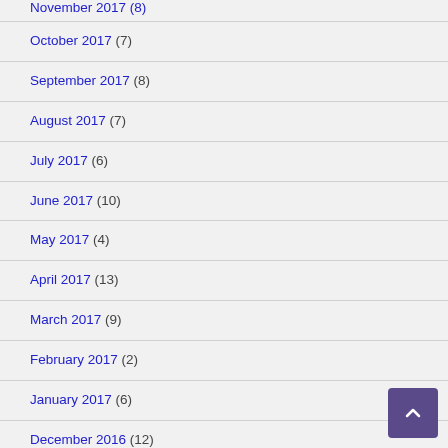November 2017 (8)
October 2017 (7)
September 2017 (8)
August 2017 (7)
July 2017 (6)
June 2017 (10)
May 2017 (4)
April 2017 (13)
March 2017 (9)
February 2017 (2)
January 2017 (6)
December 2016 (12)